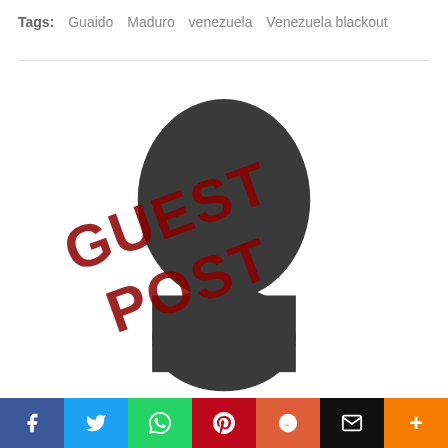Tags: Guaido  Maduro  venezuela  Venezuela blackout
[Figure (illustration): Silhouette of a person's head and shoulders with a diagonal red 'GUEST POST' watermark stamp across the image on a white background]
Social share bar: Facebook, Twitter, WhatsApp, Pinterest, Reddit, Email, More